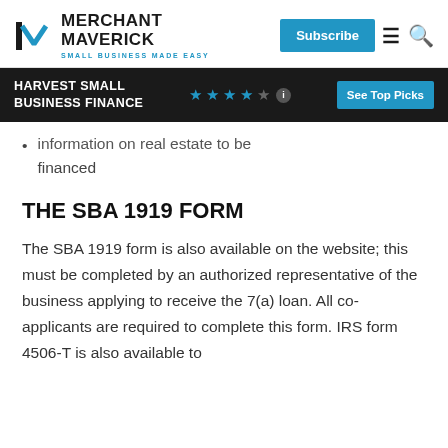MERCHANT MAVERICK | SMALL BUSINESS MADE EASY | Subscribe
HARVEST SMALL BUSINESS FINANCE ★★★★☆ | See Top Picks
information on real estate to be financed
THE SBA 1919 FORM
The SBA 1919 form is also available on the website; this must be completed by an authorized representative of the business applying to receive the 7(a) loan. All co-applicants are required to complete this form. IRS form 4506-T is also available to